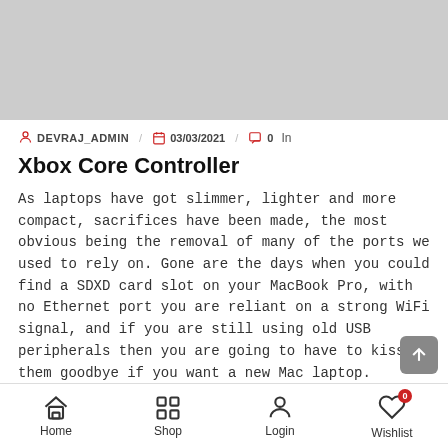[Figure (photo): Gray hero/banner image placeholder at top of article]
DEVRAJ_ADMIN  03/03/2021  0  In
Xbox Core Controller
As laptops have got slimmer, lighter and more compact, sacrifices have been made, the most obvious being the removal of many of the ports we used to rely on. Gone are the days when you could find a SDXD card slot on your MacBook Pro, with no Ethernet port you are reliant on a strong WiFi signal, and if you are still using old USB peripherals then you are going to have to kiss them goodbye if you want a new Mac laptop.
WHAT PORTS DOES THE MACBOOK HAVE?
When Apple unveiled its ultra-slim MacBook back in 2015, the new
Home  Shop  Login  Wishlist  0